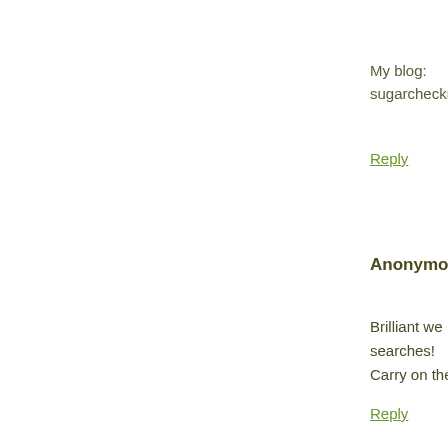My blog: sugarcheckn
Reply
Anonymous
Brilliant we searches!
Carry on the
Reply
[Figure (illustration): User avatar circle icon with silhouette]
Enter Com
Thanks for your co
Newer Post
Subscribe to: Post C